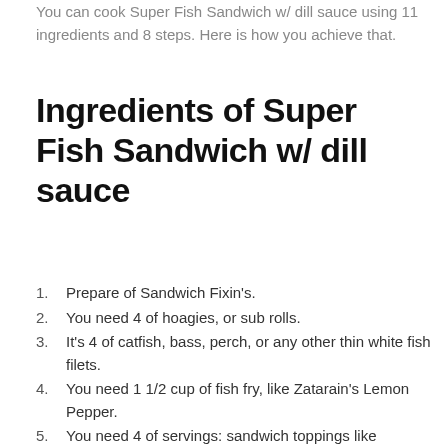You can cook Super Fish Sandwich w/ dill sauce using 11 ingredients and 8 steps. Here is how you achieve that.
Ingredients of Super Fish Sandwich w/ dill sauce
Prepare of Sandwich Fixin's.
You need 4 of hoagies, or sub rolls.
It's 4 of catfish, bass, perch, or any other thin white fish filets.
You need 1 1/2 cup of fish fry, like Zatarain's Lemon Pepper.
You need 4 of servings: sandwich toppings like Lettuce, Onion, Tomato, Pickles, Jalapenos, etc.